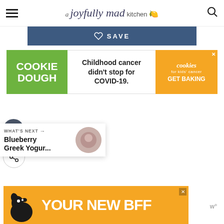a joyfully mad kitchen
[Figure (screenshot): Dark blue Save button bar with heart/bookmark icon and SAVE text]
[Figure (infographic): Cookie Dough for Kids Cancer ad banner: green left panel with COOKIE DOUGH text, white middle with Childhood cancer didn't stop for COVID-19., orange right panel with cookies for kids cancer GET BAKING]
[Figure (infographic): Floating dark circular heart/favorite button on the left side]
[Figure (infographic): Floating share button on the left side]
[Figure (screenshot): What's Next widget showing Blueberry Greek Yogur... with circular thumbnail image]
[Figure (infographic): Orange YOUR NEW BFF advertisement banner with dog silhouette]